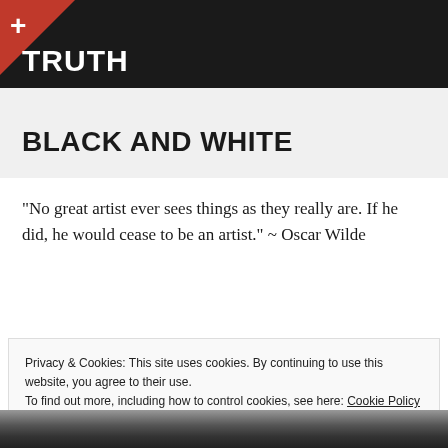TRUTH
BLACK AND WHITE
“No great artist ever sees things as they really are. If he did, he would cease to be an artist.” ~ Oscar Wilde
Privacy & Cookies: This site uses cookies. By continuing to use this website, you agree to their use.
To find out more, including how to control cookies, see here: Cookie Policy
[Figure (photo): Black and white photograph visible at the bottom of the page]